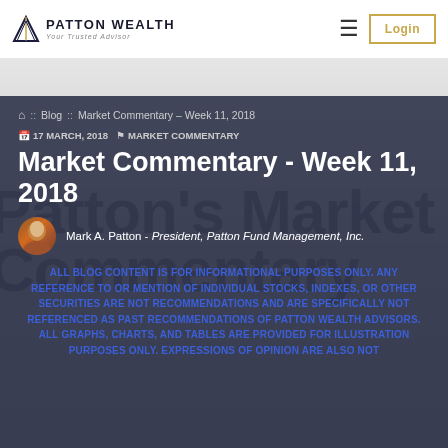Patton Wealth | PATTON WEALTH Your Trusted Advisor
Blog :: Market Commentary - Week 11, 2018
17 MARCH, 2018   MARKET COMMENTARY
Market Commentary - Week 11, 2018
Mark A. Patton - President, Patton Fund Management, Inc.
ALL BLOG CONTENT IS FOR INFORMATIONAL PURPOSES ONLY. ANY REFERENCE TO OR MENTION OF INDIVIDUAL STOCKS, INDEXES, OR OTHER SECURITIES ARE NOT RECOMMENDATIONS AND ARE SPECIFICALLY NOT REFERENCED AS PAST RECOMMENDATIONS OF PATTON WEALTH ADVISORS. ALL GRAPHS, CHARTS, AND TABLES ARE PROVIDED FOR ILLUSTRATION PURPOSES ONLY. EXPRESSIONS OF OPINION ARE ALSO NOT